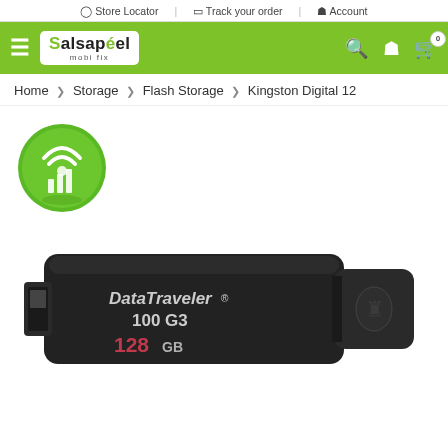Store Locator | Track your order | Account
[Figure (logo): Salsapeel mobi fix logo in green navbar with hamburger menu, search, account, and cart icons]
Home > Storage > Flash Storage > Kingston Digital 12
[Figure (logo): Green circular icon with white WiFi and film/bar chart symbol (Salsapeel brand icon)]
[Figure (photo): Kingston DataTraveler 100 G3 128GB USB flash drive, black color, showing DataTraveler 100 G3 text in white and 128GB in red/pink on the drive body, Kingston logo on cap]